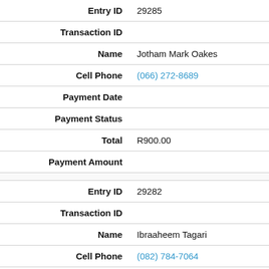| Field | Value |
| --- | --- |
| Entry ID | 29285 |
| Transaction ID |  |
| Name | Jotham Mark Oakes |
| Cell Phone | (066) 272-8689 |
| Payment Date |  |
| Payment Status |  |
| Total | R900.00 |
| Payment Amount |  |
|  |  |
| Entry ID | 29282 |
| Transaction ID |  |
| Name | Ibraaheem Tagari |
| Cell Phone | (082) 784-7064 |